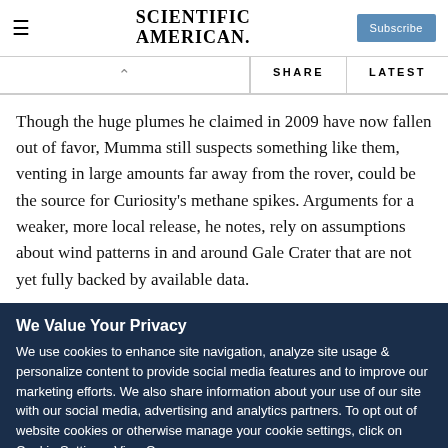SCIENTIFIC AMERICAN
Though the huge plumes he claimed in 2009 have now fallen out of favor, Mumma still suspects something like them, venting in large amounts far away from the rover, could be the source for Curiosity's methane spikes. Arguments for a weaker, more local release, he notes, rely on assumptions about wind patterns in and around Gale Crater that are not yet fully backed by available data.
We Value Your Privacy
We use cookies to enhance site navigation, analyze site usage & personalize content to provide social media features and to improve our marketing efforts. We also share information about your use of our site with our social media, advertising and analytics partners. To opt out of website cookies or otherwise manage your cookie settings, click on Cookie Settings. View O...